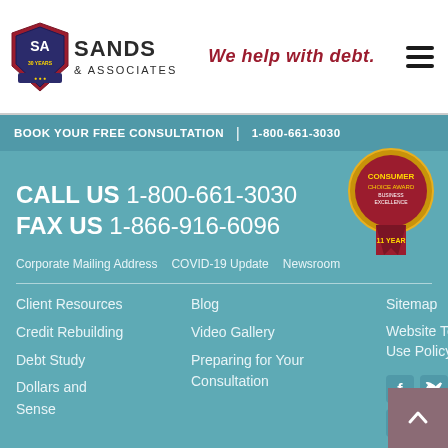[Figure (logo): Sands & Associates logo with shield emblem showing SA and 30 YEARS text]
We help with debt.
BOOK YOUR FREE CONSULTATION | 1-800-661-3030
[Figure (illustration): Consumer Choice Award badge - gold medal with red ribbon showing 11 YEAR and Business Excellence]
CALL US 1-800-661-3030
FAX US 1-866-916-6096
Corporate Mailing Address   COVID-19 Update   Newsroom
Client Resources
Blog
Sitemap
Credit Rebuilding
Video Gallery
Website Terms of Use Policy
Debt Study
Preparing for Your Consultation
Dollars and Sense